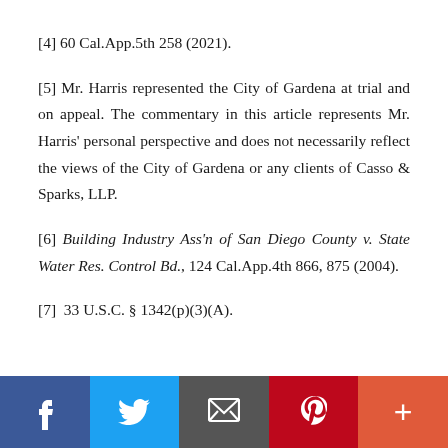[4] 60 Cal.App.5th 258 (2021).
[5] Mr. Harris represented the City of Gardena at trial and on appeal. The commentary in this article represents Mr. Harris’ personal perspective and does not necessarily reflect the views of the City of Gardena or any clients of Casso & Sparks, LLP.
[6] Building Industry Ass’n of San Diego County v. State Water Res. Control Bd., 124 Cal.App.4th 866, 875 (2004).
[7]  33 U.S.C. § 1342(p)(3)(A).